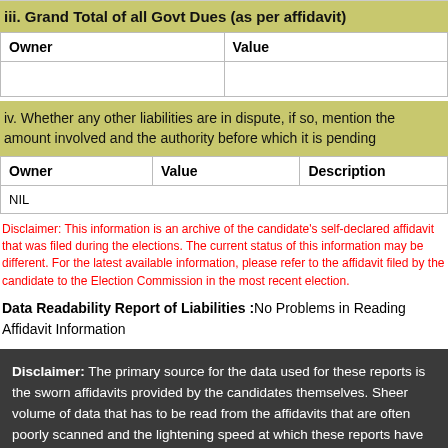iii. Grand Total of all Govt Dues (as per affidavit)
| Owner | Value |
| --- | --- |
|  |  |
iv. Whether any other liabilities are in dispute, if so, mention the amount involved and the authority before which it is pending
| Owner | Value | Description |
| --- | --- | --- |
| NIL |  |  |
Disclaimer: This information is an archive of the candidate's self-declared affidavit that was filed during the elections. The current status of this information may be different. For the latest available information, please refer to the affidavit filed by the candidate to the Election Commission in the most recent election.
Data Readability Report of Liabilities :No Problems in Reading Affidavit Information
Disclaimer: The primary source for the data used for these reports is the sworn affidavits provided by the candidates themselves. Sheer volume of data that has to be read from the affidavits that are often poorly scanned and the lightening speed at which these reports have to be brought out makes it quite difficult to ensure accuracy of every bit of data. In case of